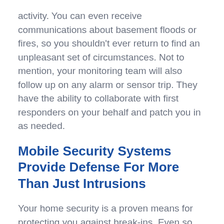activity. You can even receive communications about basement floods or fires, so you shouldn't ever return to find an unpleasant set of circumstances. Not to mention, your monitoring team will also follow up on any alarm or sensor trip. They have the ability to collaborate with first responders on your behalf and patch you in as needed.
Mobile Security Systems Provide Defense For More Than Just Intrusions
Your home security is a proven means for protecting you against break-ins. Even so, your package can incorporate more than door sensors and surveillance. For instance, smoke and CO